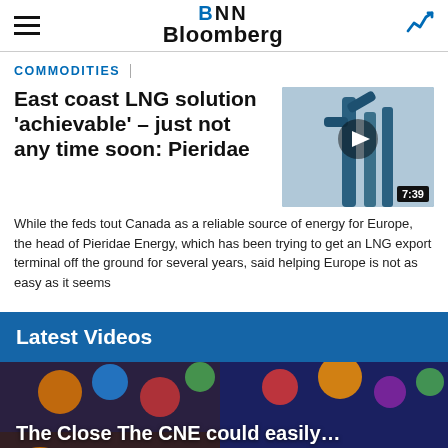BNN Bloomberg
COMMODITIES
East coast LNG solution 'achievable' – just not any time soon: Pieridae
[Figure (photo): Video thumbnail showing blue industrial pipes/chimneys against a grey sky, with a play button overlay and duration badge reading 7:39]
While the feds tout Canada as a reliable source of energy for Europe, the head of Pieridae Energy, which has been trying to get an LNG export terminal off the ground for several years, said helping Europe is not as easy as it seems
Latest Videos
[Figure (photo): Video thumbnail showing CNE carnival scene with colorful decorations and people. Overlaid text: 'The Close The CNE could easily…' and 'Darrell Brown, CEO of CNE Association, joins BNN…'. CHE badge in bottom right.]